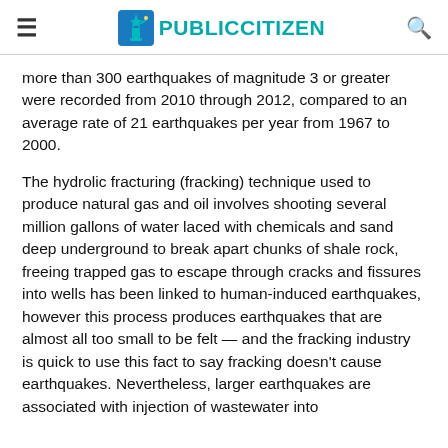PUBLIC CITIZEN
more than 300 earthquakes of magnitude 3 or greater were recorded from 2010 through 2012, compared to an average rate of 21 earthquakes per year from 1967 to 2000.
The hydrolic fracturing (fracking) technique used to produce natural gas and oil involves shooting several million gallons of water laced with chemicals and sand deep underground to break apart chunks of shale rock, freeing trapped gas to escape through cracks and fissures into wells has been linked to human-induced earthquakes, however this process produces earthquakes that are almost all too small to be felt — and the fracking industry is quick to use this fact to say fracking doesn't cause earthquakes. Nevertheless, larger earthquakes are associated with injection of wastewater into